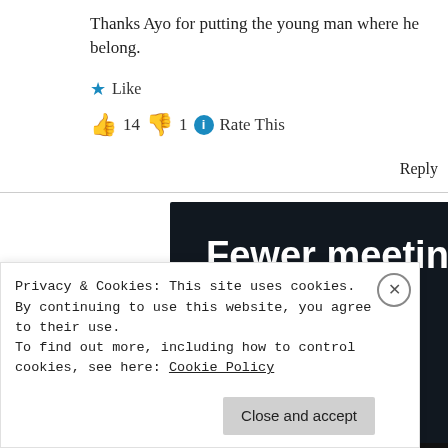Thanks Ayo for putting the young man where he belong.
★ Like
👍 14 👎 1 ℹ Rate This
Reply
[Figure (screenshot): Advertisement banner with dark background showing text 'Fewer meetings, more work.' and a 'Get started for free' button]
Privacy & Cookies: This site uses cookies. By continuing to use this website, you agree to their use.
To find out more, including how to control cookies, see here: Cookie Policy
Close and accept